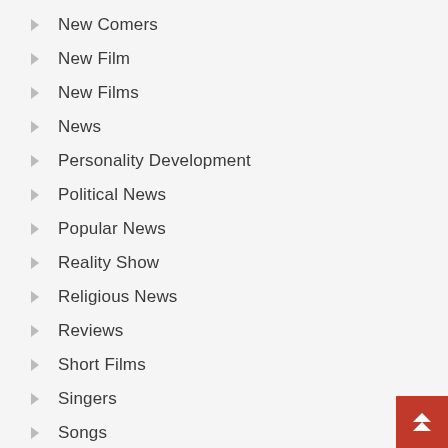New Comers
New Film
New Films
News
Personality Development
Political News
Popular News
Reality Show
Religious News
Reviews
Short Films
Singers
Songs